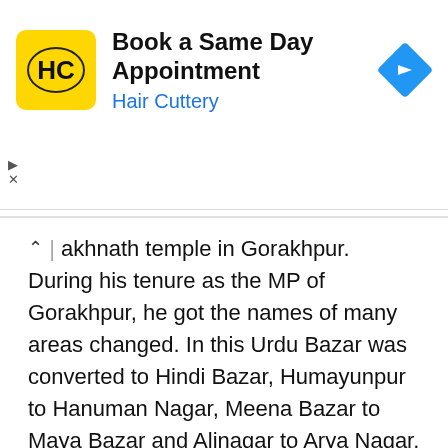[Figure (other): Hair Cuttery advertisement banner with yellow logo showing 'HC' text, title 'Book a Same Day Appointment', subtitle 'Hair Cuttery' in blue, and a blue diamond-shaped arrow icon on the right.]
Gorakhnath temple in Gorakhpur. During his tenure as the MP of Gorakhpur, he got the names of many areas changed. In this Urdu Bazar was converted to Hindi Bazar, Humayunpur to Hanuman Nagar, Meena Bazar to Maya Bazar and Alinagar to Arya Nagar.